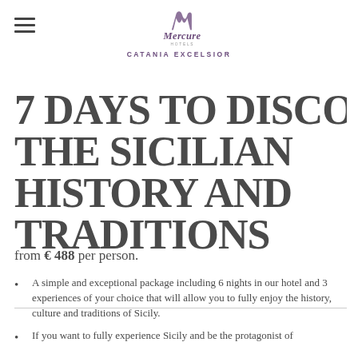Mercure Hotels — CATANIA EXCELSIOR
7 DAYS TO DISCOVER THE SICILIAN HISTORY AND TRADITIONS
from € 488 per person.
A simple and exceptional package including 6 nights in our hotel and 3 experiences of your choice that will allow you to fully enjoy the history, culture and traditions of Sicily.
If you want to fully experience Sicily and be the protagonist of